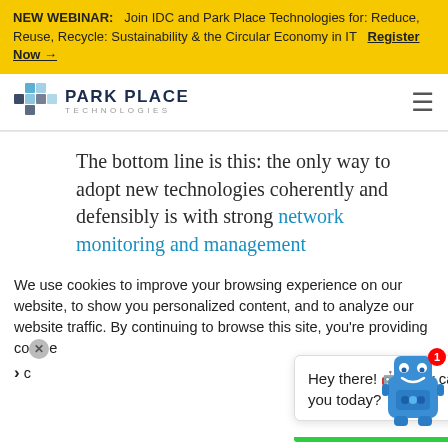NEW WEBINAR: Join IDC and Park Place Technologies for: Reduce, Reuse, Recycle: Sustainability & the Circular Economy in IT Register Now →
[Figure (logo): Park Place Technologies logo with geometric diamond/cross icon and text PARK PLACE TECHNOLOGIES]
The bottom line is this: the only way to adopt new technologies coherently and defensibly is with strong network monitoring and management
We use cookies to improve your browsing experience on our website, to show you personalized content, and to analyze our website traffic. By continuing to browse this site, you're providing co...
Hey there! 🤖 How can I help you today?